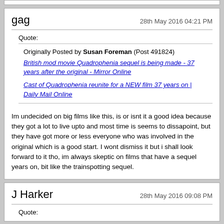gag
28th May 2016 04:21 PM
Quote:
Originally Posted by Susan Foreman (Post 491824)
British mod movie Quadrophenia sequel is being made - 37 years after the original - Mirror Online
Cast of Quadrophenia reunite for a NEW film 37 years on | Daily Mail Online
Im undecided on big films like this, is or isnt it a good idea because they got a lot to live upto and most time is seems to dissapoint, but they have got more or less everyone who was involved in the original which is a good start. I wont dismiss it but i shall look forward to it tho, im always skeptic on films that have a sequel years on, bit like the trainspotting sequel.
J Harker
28th May 2016 09:08 PM
Quote: